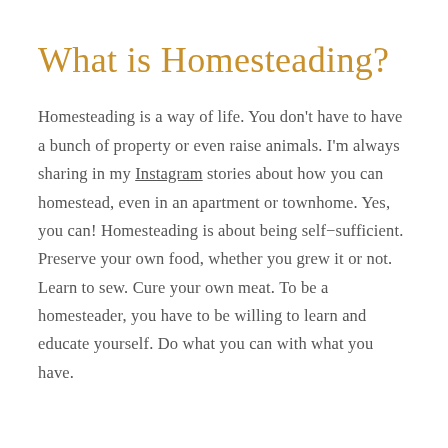What is Homesteading?
Homesteading is a way of life. You don't have to have a bunch of property or even raise animals. I'm always sharing in my Instagram stories about how you can homestead, even in an apartment or townhome. Yes, you can! Homesteading is about being self-sufficient. Preserve your own food, whether you grew it or not. Learn to sew. Cure your own meat. To be a homesteader, you have to be willing to learn and educate yourself. Do what you can with what you have.